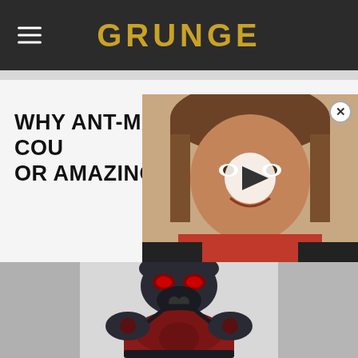GRUNGE
WHY ANT-MAN COU... OR AMAZING
[Figure (photo): Video thumbnail showing a woman with short brown hair and a red scarf, with a white play button overlay]
[Figure (photo): Hero image of Ant-Man in his suit, dark grey and red armored costume with helmet and red eye lenses]